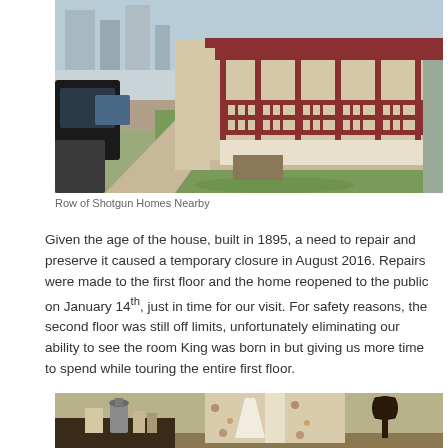[Figure (photo): Street-level photograph of a row of shotgun homes with red railings and porches, parked cars on left, green lawn in foreground, urban buildings in background.]
Row of Shotgun Homes Nearby
Given the age of the house, built in 1895, a need to repair and preserve it caused a temporary closure in August 2016. Repairs were made to the first floor and the home reopened to the public on January 14th, just in time for our visit. For safety reasons, the second floor was still off limits, unfortunately eliminating our ability to see the room King was born in but giving us more time to spend while touring the entire first floor.
[Figure (photo): Interior photograph of a room with olive/tan walls, a shelf with a coffee percolator and other items on the left, floral curtains in the center, and a dark decorative object on the right wall.]